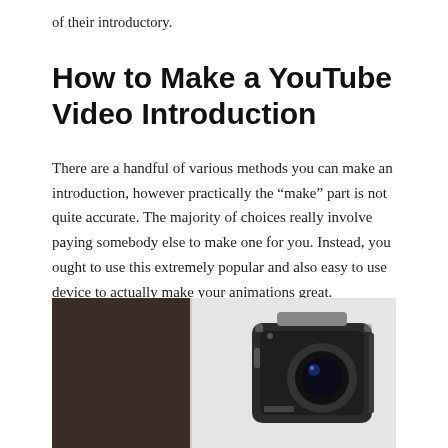of their introductory.
How to Make a YouTube Video Introduction
There are a handful of various methods you can make an introduction, however practically the “make” part is not quite accurate. The majority of choices really involve paying somebody else to make one for you. Instead, you ought to use this extremely popular and also easy to use device to actually make your animations great.
[Figure (photo): A photo showing a dark square panel on the left and a GoPro-style action camera on the right against a light grey background.]